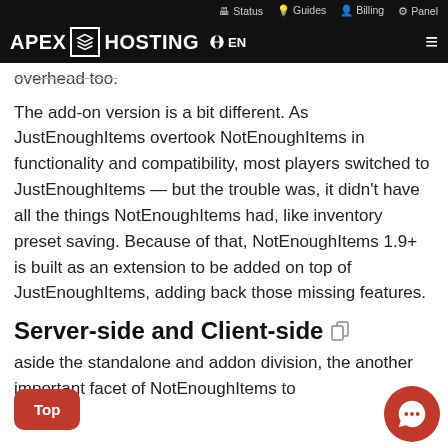Status  Guides  Billing  Panel
APEX HOSTING  EN
overhead too.
The add-on version is a bit different. As JustEnoughItems overtook NotEnoughItems in functionality and compatibility, most players switched to JustEnoughItems — but the trouble was, it didn't have all the things NotEnoughItems had, like inventory preset saving. Because of that, NotEnoughItems 1.9+ is built as an extension to be added on top of JustEnoughItems, adding back those missing features.
Server-side and Client-side
aside the standalone and addon division, the another important facet of NotEnoughItems to